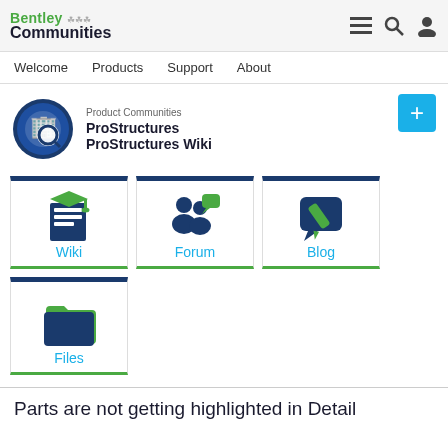Bentley Communities
Welcome  Products  Support  About
Product Communities
ProStructures
ProStructures Wiki
[Figure (screenshot): Wiki icon: document with graduation cap]
[Figure (screenshot): Forum icon: two people with speech bubble]
[Figure (screenshot): Blog icon: pencil writing on speech bubble]
[Figure (screenshot): Files icon: folder]
Parts are not getting highlighted in Detail